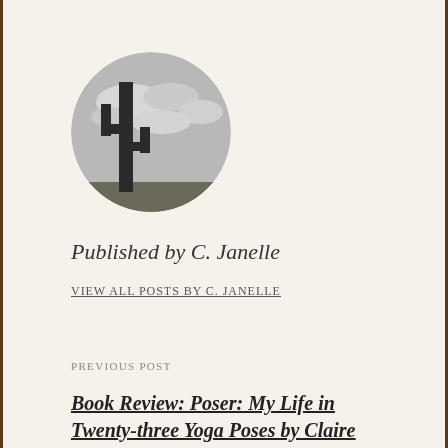[Figure (photo): Circular avatar image showing a black and white photograph of a tall saguaro cactus against a cloudy sky]
Published by C. Janelle
VIEW ALL POSTS BY C. JANELLE
PREVIOUS POST
Book Review: Poser: My Life in Twenty-three Yoga Poses by Claire Dederer